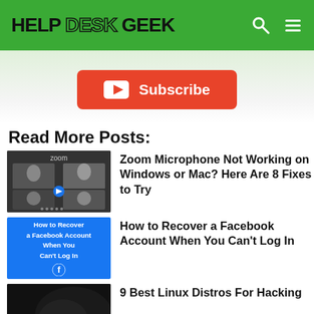HELP DESK GEEK
[Figure (screenshot): YouTube subscribe button in red with play icon]
Read More Posts:
[Figure (screenshot): Zoom video call interface with four participants on dark background]
Zoom Microphone Not Working on Windows or Mac? Here Are 8 Fixes to Try
[Figure (screenshot): Blue thumbnail with text: How to Recover a Facebook Account When You Can't Log In, with Facebook logo]
How to Recover a Facebook Account When You Can't Log In
[Figure (screenshot): Dark thumbnail with Best Linux Distros text in yellow]
9 Best Linux Distros For Hacking